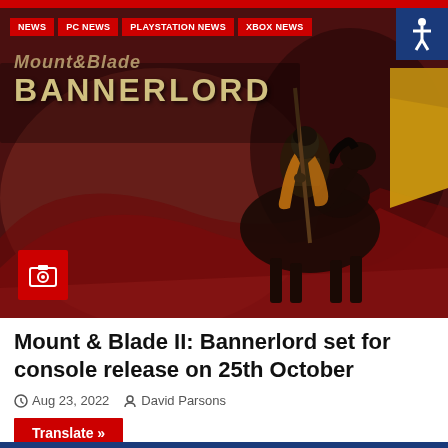NEWS | PC NEWS | PLAYSTATION NEWS | XBOX NEWS
[Figure (screenshot): Mount & Blade II: Bannerlord game art showing a knight on horseback holding a lance, with game logo text overlaid on a dark red/brown background.]
Mount & Blade II: Bannerlord set for console release on 25th October
Aug 23, 2022  David Parsons
Translate »